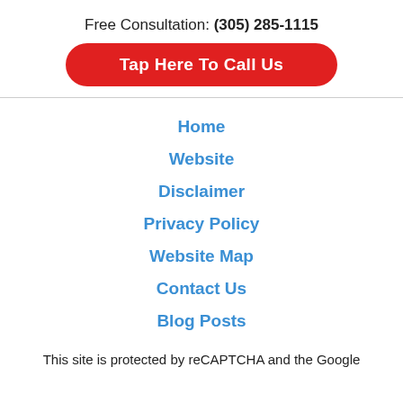Free Consultation: (305) 285-1115
Tap Here To Call Us
Home
Website
Disclaimer
Privacy Policy
Website Map
Contact Us
Blog Posts
This site is protected by reCAPTCHA and the Google